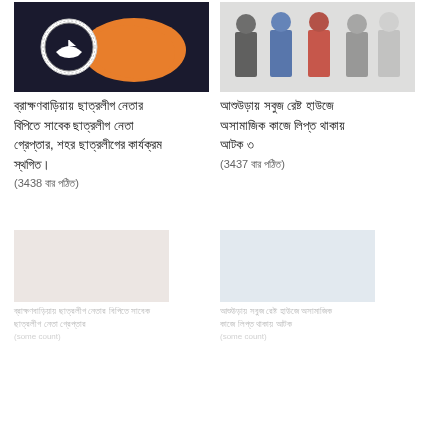[Figure (photo): Map image with orange region and a logo/emblem overlay]
ব্রাক্ষণবাড়িয়ায় ছাত্রলীগ নেতার বিপিতে সাবেক ছাত্রলীগ নেতা গ্রেপ্তার, শহর ছাত্রলীগের কার্যক্রম স্থগিত।
(3438 বার পঠিত)
[Figure (photo): Group of people standing, one in red shirt]
আশুউড়ায় সবুজ রেষ্ট হাউজে অসামাজিক কাজে লিপ্ত থাকায় আটক ৩
(3437 বার পঠিত)
[Figure (photo): Faded/blurred image (bottom left)]
ব্রাক্ষণবাড়িয়ায় ছাত্রলীগ নেতার বিপিতে সাবেক ছাত্রলীগ নেতা গ্রেপ্তার
(some count)
[Figure (photo): Faded/blurred image (bottom right)]
আশুউড়ায় সবুজ রেষ্ট হাউজে অসামাজিক কাজে লিপ্ত থাকায় আটক
(some count)